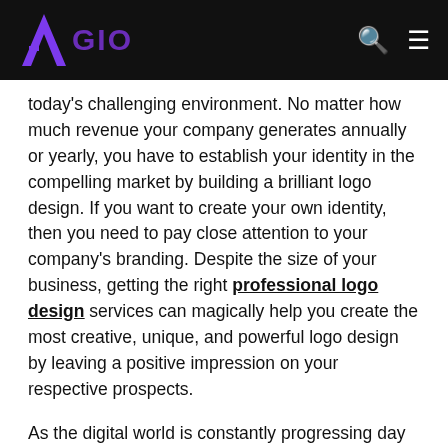AFGIO
today's challenging environment. No matter how much revenue your company generates annually or yearly, you have to establish your identity in the compelling market by building a brilliant logo design. If you want to create your own identity, then you need to pay close attention to your company's branding. Despite the size of your business, getting the right professional logo design services can magically help you create the most creative, unique, and powerful logo design by leaving a positive impression on your respective prospects.
As the digital world is constantly progressing day by day with advancements in technology, changes in techniques, and evolving methodology, website owners should start investing in professional graphic design services to create impeccable logo designs that stand out. Here, we have mentioned some of the key principles to create that